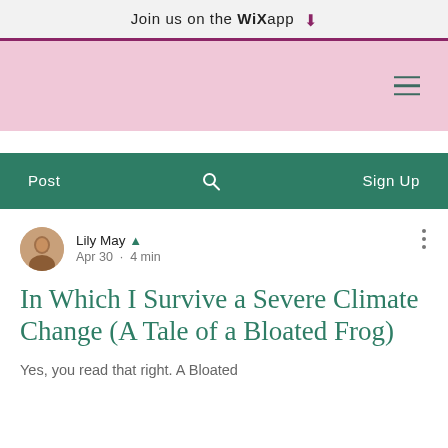Join us on the WiX app ⬇
[Figure (screenshot): Pink navigation bar with hamburger menu icon on the right]
[Figure (screenshot): Teal navigation bar with Post on left, search icon in center, Sign Up on right]
Lily May 👑
Apr 30 · 4 min
In Which I Survive a Severe Climate Change (A Tale of a Bloated Frog)
Yes, you read that right. A Bloated